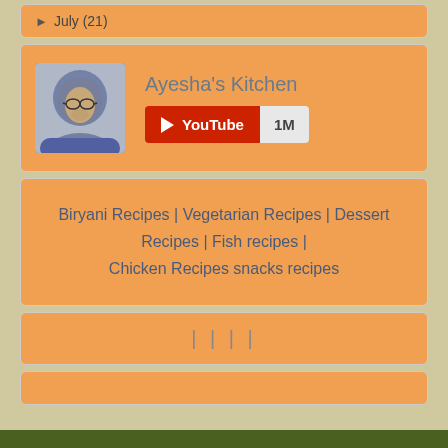► July (21)
[Figure (other): YouTube channel widget for Ayesha's Kitchen with avatar photo and 1M subscribers button]
Biryani Recipes | Vegetarian Recipes | Dessert Recipes | Fish recipes | Chicken Recipes snacks recipes
| | | |
@ GReen Rose. Powered by Blogger. sp